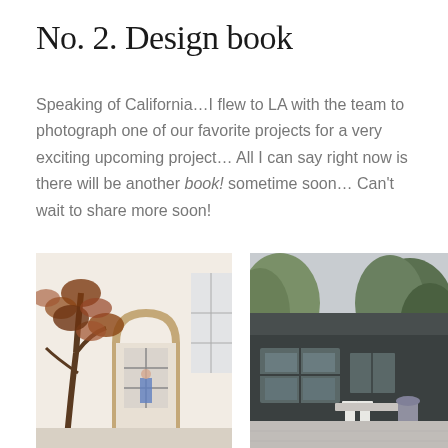No. 2. Design book
Speaking of California…I flew to LA with the team to photograph one of our favorite projects for a very exciting upcoming project… All I can say right now is there will be another book! sometime soon… Can't wait to share more soon!
[Figure (photo): Interior photo showing a large magnolia tree branch in a bright white room with an arched doorway and steel-framed windows in the background, a person in blue pants visible through the doorway]
[Figure (photo): Exterior photo of a dark charcoal/black modern farmhouse with large windows, outdoor seating area with white stools, surrounded by olive trees and lush greenery under an overcast sky]